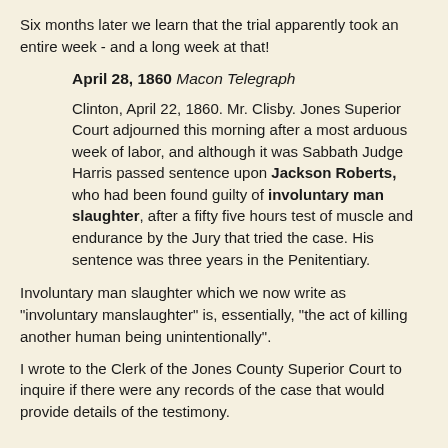Six months later we learn that the trial apparently took an entire week - and a long week at that!
April 28, 1860 Macon Telegraph
Clinton, April 22, 1860. Mr. Clisby. Jones Superior Court adjourned this morning after a most arduous week of labor, and although it was Sabbath Judge Harris passed sentence upon Jackson Roberts, who had been found guilty of involuntary man slaughter, after a fifty five hours test of muscle and endurance by the Jury that tried the case. His sentence was three years in the Penitentiary.
Involuntary man slaughter which we now write as "involuntary manslaughter" is, essentially, "the act of killing another human being unintentionally".
I wrote to the Clerk of the Jones County Superior Court to inquire if there were any records of the case that would provide details of the testimony.